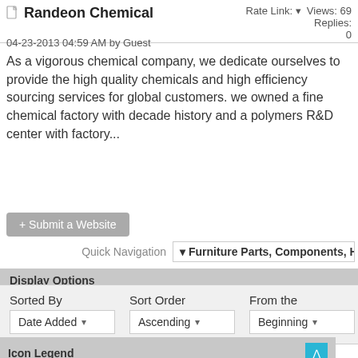Randeon Chemical
Rate Link: ▾ Views: 69 Replies: 0
04-23-2013 04:59 AM by Guest
As a vigorous chemical company, we dedicate ourselves to provide the high quality chemicals and high efficiency sourcing services for global customers. we owned a fine chemical factory with decade history and a polymers R&D center with factory...
+ Submit a Website
Quick Navigation  ▾ Furniture Parts, Components, Hardwa
Display Options
Sorted By
Date Added ▾
Sort Order
Ascending ▾
From the
Beginning ▾
Icon Legend
New Link
New Hot Link
Old Link
Old Hot Link
Closed Link